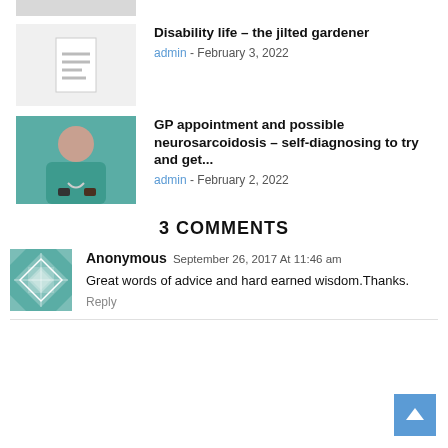[Figure (photo): Partial view of top image, cropped at top of page]
Disability life – the jilted gardener
admin - February 3, 2022
[Figure (photo): Doctor in teal scrubs with stethoscope, arms crossed]
GP appointment and possible neurosarcoidosis – self-diagnosing to try and get...
admin - February 2, 2022
3 COMMENTS
[Figure (illustration): Teal geometric quilt-pattern avatar icon]
Anonymous September 26, 2017 At 11:46 am
Great words of advice and hard earned wisdom.Thanks.
Reply